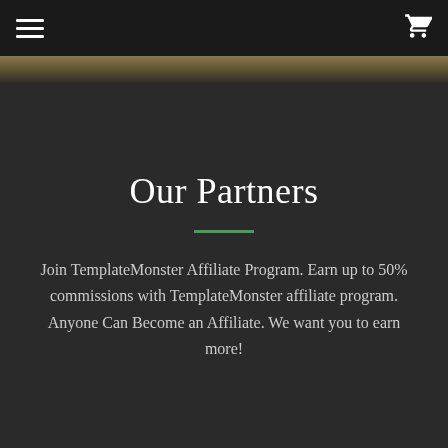Navigation header with hamburger menu and cart icon
[Figure (other): Dark banner strip with golden-brown gradient]
Our Partners
Join TemplateMonster Affiliate Program. Earn up to 50% commissions with TemplateMonster affiliate program. Anyone Can Become an Affiliate. We want you to earn more!